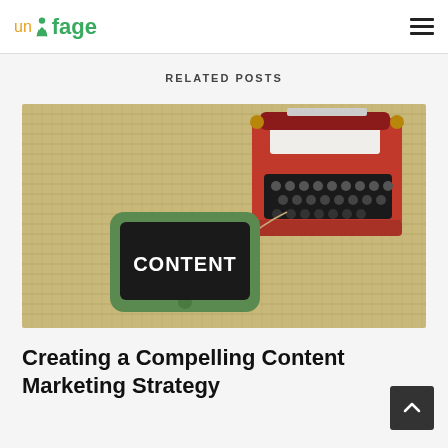unfage (logo) [hamburger menu]
RELATED POSTS
[Figure (photo): A small red vintage toy typewriter on a burlap/hessian textured fabric background, with a green tag-shaped chalkboard in front that reads 'CONTENT' in white chalk lettering. A small string hangs from the tag.]
Creating a Compelling Content Marketing Strategy